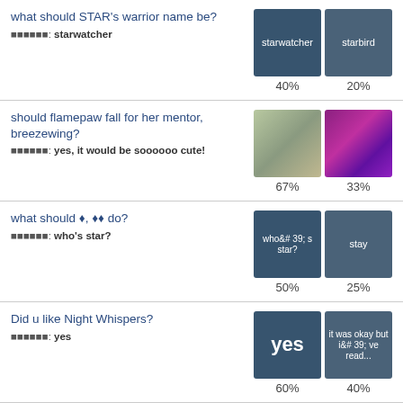what should STAR's warrior name be?
winner: starwatcher
should flamepaw fall for her mentor, breezewing?
winner: yes, it would be soooooo cute!
what should ?, ?? do?
winner: who's star?
Did u like Night Whispers?
winner: yes
What do ??? think Dovepaws warrior name like?